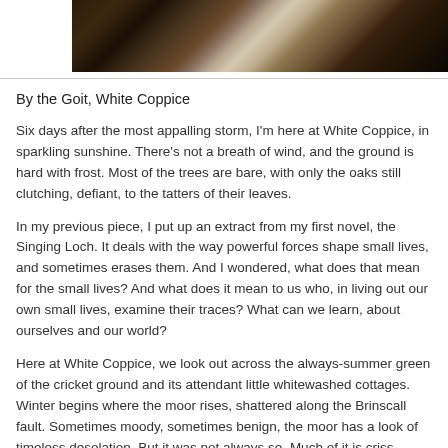[Figure (photo): A photograph showing a dark forest floor or stream bed with rocks, leaves, and dappled light reflecting off water or frost.]
By the Goit, White Coppice
Six days after the most appalling storm, I'm here at White Coppice, in sparkling sunshine. There's not a breath of wind, and the ground is hard with frost. Most of the trees are bare, with only the oaks still clutching, defiant, to the tatters of their leaves.
In my previous piece, I put up an extract from my first novel, the Singing Loch. It deals with the way powerful forces shape small lives, and sometimes erases them. And I wondered, what does that mean for the small lives? And what does it mean to us who, in living out our own small lives, examine their traces? What can we learn, about ourselves and our world?
Here at White Coppice, we look out across the always-summer green of the cricket ground and its attendant little whitewashed cottages. Winter begins where the moor rises, shattered along the Brinscall fault. Sometimes moody, sometimes benign, the moor has a look of timeless desolation. But it was not always so. Much of it is criss-crossed with drystone walls, relics of the early enclosures. And there are piles of worked stone, overgrown, now, with coarse grasses and clumps of soft rushes. These are the remains of farms, each a lateformed and silent marker of past lives. Then there were any number of quarries, and small mines digging for rare minerals. They're all gone now, swept away by time, and, in the case of the farms, by the need of burgeoning cities, and their industries, for water. In the small lives of the lost farms, here, there are untold stories of love, endurance and tragedy. We are le